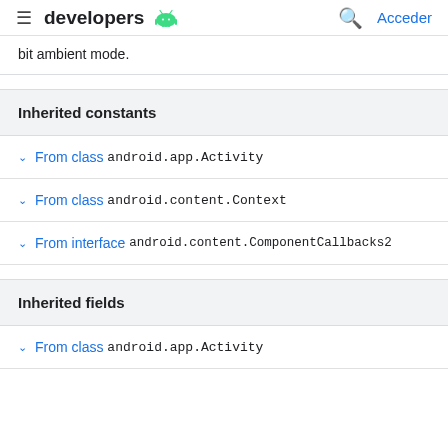developers  [Android logo]  [Search]  Acceder
bit ambient mode.
Inherited constants
From class android.app.Activity
From class android.content.Context
From interface android.content.ComponentCallbacks2
Inherited fields
From class android.app.Activity